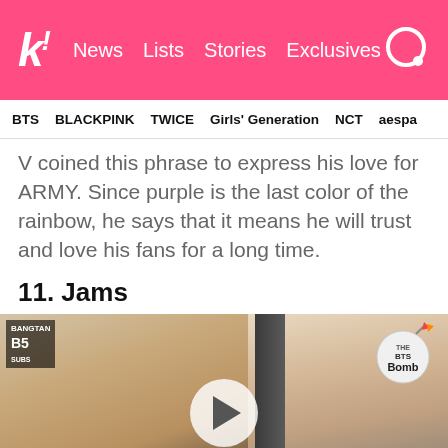k! News  Lists  Stories  Exclusives
BTS  BLACKPINK  TWICE  Girls' Generation  NCT  aespa
V coined this phrase to express his love for ARMY. Since purple is the last color of the rainbow, he says that it means he will trust and love his fans for a long time.
11. Jams
[Figure (screenshot): Video thumbnail showing two BTS members close up, with a BTS Bomb badge in the top right corner, a BANGTAN SUBS overlay label in the top left, and a play button in the center.]